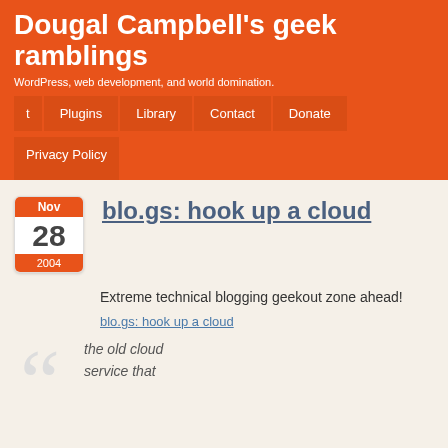Dougal Campbell's geek ramblings
WordPress, web development, and world domination.
t | Plugins | Library | Contact | Donate | Privacy Policy
blo.gs: hook up a cloud
Extreme technical blogging geekout zone ahead!
blo.gs: hook up a cloud
the old cloud service that